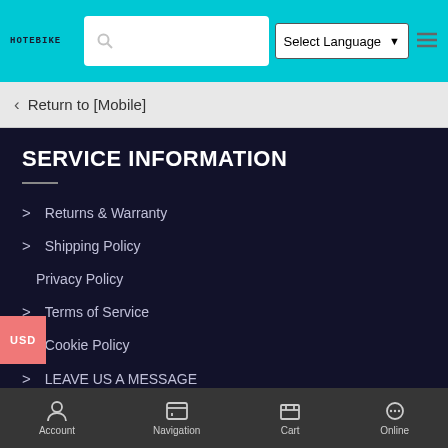[Figure (screenshot): Website header with HOTEBIKE logo, search bar, Select Language dropdown, and hamburger menu on cyan background]
Return to [Mobile]
SERVICE INFORMATION
> Returns & Warranty
> Shipping Policy
> Privacy Policy
> Terms of Service
> Cookie Policy
> LEAVE US A MESSAGE
> Home Pages
Account  Navigation  Cart  Online